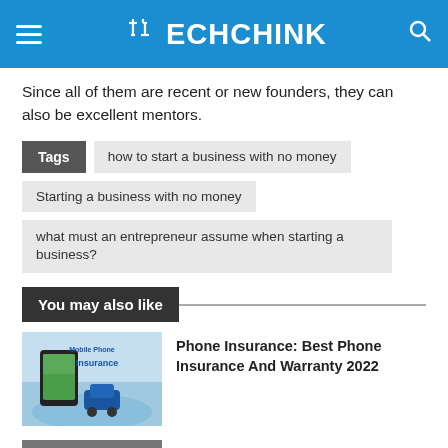TECHCHINK
Since all of them are recent or new founders, they can also be excellent mentors.
Tags: how to start a business with no money | Starting a business with no money | what must an entrepreneur assume when starting a business?
You may also like
Phone Insurance: Best Phone Insurance And Warranty 2022
[Figure (photo): Mobile Phone Insurance promotional image with a smartphone and a car, blue watery background]
What Is Data Labeling? 15 Best Data Labeling Companies
[Figure (photo): Aerial view photo of colorful miniature figures on a street with crosswalk]